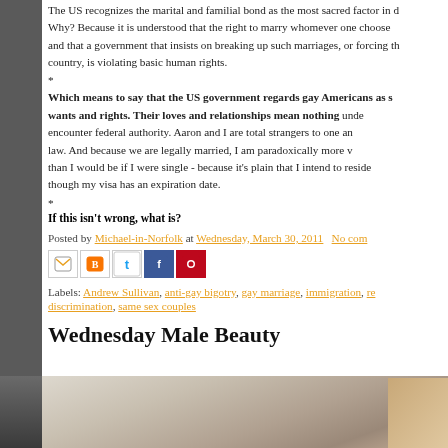The US recognizes the marital and familial bond as the most sacred factor in d... Why? Because it is understood that the right to marry whomever one choose... and that a government that insists on breaking up such marriages, or forcing th... country, is violating basic human rights.
*
Which means to say that the US government regards gay Americans as s... wants and rights. Their loves and relationships mean nothing unde... encounter federal authority. Aaron and I are total strangers to one an... law. And because we are legally married, I am paradoxically more v... than I would be if I were single - because it's plain that I intend to reside... though my visa has an expiration date.
*
If this isn't wrong, what is?
Posted by Michael-in-Norfolk at Wednesday, March 30, 2011   No com...
[Figure (other): Social share buttons: Gmail, Blogger, Twitter, Facebook, Pinterest]
Labels: Andrew Sullivan, anti-gay bigotry, gay marriage, immigration, re... discrimination, same sex couples
Wednesday Male Beauty
[Figure (photo): Bottom portion of a blog page with a partially visible photo]